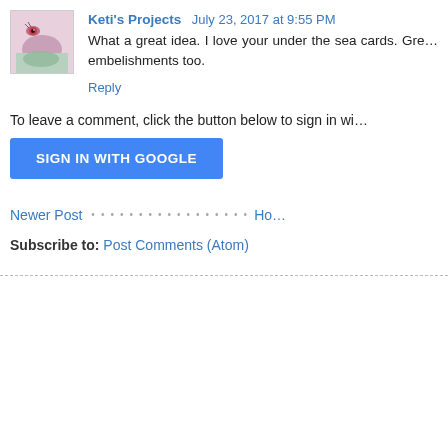Keti's Projects  July 23, 2017 at 9:55 PM
What a great idea. I love your under the sea cards. Gre... embelishments too.
Reply
To leave a comment, click the button below to sign in wi...
[Figure (other): SIGN IN WITH GOOGLE button]
Newer Post · · · · · · · · · · · · · · · Ho...
Subscribe to: Post Comments (Atom)